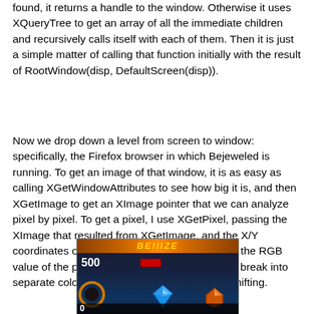found, it returns a handle to the window.  Otherwise it uses XQueryTree to get an array of all the immediate children and recursively calls itself with each of them.  Then it is just a simple matter of calling that function initially with the result of RootWindow(disp, DefaultScreen(disp)).
Now we drop down a level from screen to window: specifically, the Firefox browser in which Bejeweled is running.  To get an image of that window, it is as easy as calling XGetWindowAttributes to see how big it is, and then XGetImage to get an XImage pointer that we can analyze pixel by pixel.  To get a pixel, I use XGetPixel, passing the XImage that resulted from XGetImage, and the X/Y coordinates of the pixel I want.  This returns me the RGB value of the pixel as a long integer, which I can break into separate color levels with a little ANDing and shifting.
[Figure (screenshot): Screenshot of Bejeweled game running in Firefox browser showing game title banner at top, score of 500, a red progress bar, and gem pieces including a blue diamond and orange gem on a dark space-themed background.]